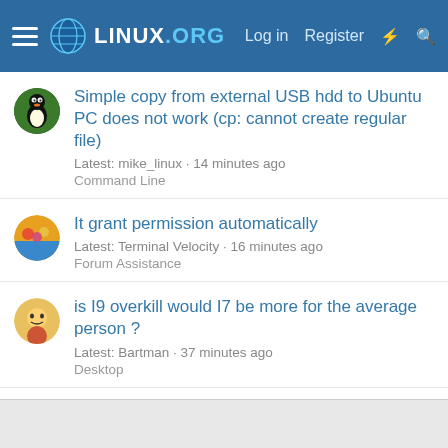Linux.org — Log in | Register
Simple copy from external USB hdd to Ubuntu PC does not work (cp: cannot create regular file)
Latest: mike_linux · 14 minutes ago
Command Line
It grant permission automatically
Latest: Terminal Velocity · 16 minutes ago
Forum Assistance
is I9 overkill would I7 be more for the average person ?
Latest: Bartman · 37 minutes ago
Desktop
Why Does The Wizard Use So Many Distros?
Latest: ML_113 · Today at 5:00 PM
General Linux
Post a screenshot of your Desktop
Latest: MikeWalsh · Today at 4:27 PM
Desktop